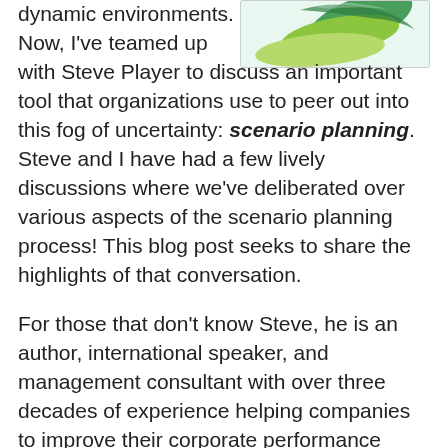[Figure (illustration): Decorative illustration with green swirling shapes and leaves on a light teal/white background, positioned in the top right area of the page.]
dynamic environments. Now, I've teamed up with Steve Player to discuss an important tool that organizations use to peer out into this fog of uncertainty: scenario planning. Steve and I have had a few lively discussions where we've deliberated over various aspects of the scenario planning process! This blog post seeks to share the highlights of that conversation.

For those that don't know Steve, he is an author, international speaker, and management consultant with over three decades of experience helping companies to improve their corporate performance management. He has been at the forefront of activity-based costing, beyond budgeting, business